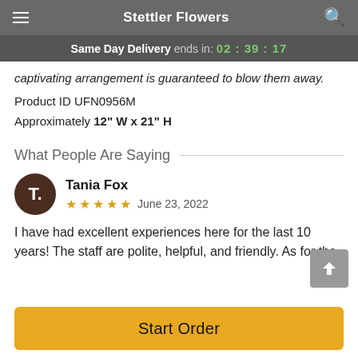Stettler Flowers
Same Day Delivery ends in: 02 : 39 : 17
captivating arrangement is guaranteed to blow them away.
Product ID UFN0956M
Approximately 12" W x 21" H
What People Are Saying
Tania Fox
★★★★★  June 23, 2022
I have had excellent experiences here for the last 10 years! The staff are polite, helpful, and friendly. As for the